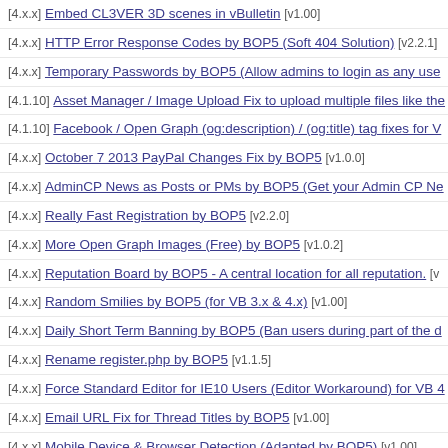[4.x.x] Embed CL3VER 3D scenes in vBulletin [v1.00]
[4.x.x] HTTP Error Response Codes by BOP5 (Soft 404 Solution) [v2.2.1]
[4.x.x] Temporary Passwords by BOP5 (Allow admins to login as any use…
[4.1.10] Asset Manager / Image Upload Fix to upload multiple files like the…
[4.1.10] Facebook / Open Graph (og:description) / (og:title) tag fixes for V…
[4.x.x] October 7 2013 PayPal Changes Fix by BOP5 [v1.0.0]
[4.x.x] AdminCP News as Posts or PMs by BOP5 (Get your Admin CP Ne…
[4.x.x] Really Fast Registration by BOP5 [v2.2.0]
[4.x.x] More Open Graph Images (Free) by BOP5 [v1.0.2]
[4.x.x] Reputation Board by BOP5 - A central location for all reputation. [v…
[4.x.x] Random Smilies by BOP5 (for VB 3.x & 4.x) [v1.00]
[4.x.x] Daily Short Term Banning by BOP5 (Ban users during part of the d…
[4.x.x] Rename register.php by BOP5 [v1.1.5]
[4.x.x] Force Standard Editor for IE10 Users (Editor Workaround) for VB 4…
[4.x.x] Email URL Fix for Thread Titles by BOP5 [v1.00]
[4.x.x] Mobile Device & Browser Detection (Adapted by BOP5) [v1.00]
[4.x.x] Download Log (for Attachments) by BOP5 (VB 4.x) [v1.1.3]
[4.x.x] install.php - The missing config.php configuration builder/editor for…
[4.x.x] Open Internal Links in Same Tab - Ported by BOP5 (VB 4.x & VB 3…